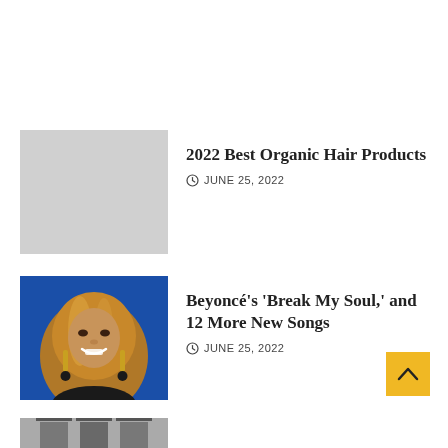[Figure (photo): Gray placeholder rectangle for article thumbnail]
2022 Best Organic Hair Products
JUNE 25, 2022
[Figure (photo): Photo of Beyoncé with long curly blonde hair against a blue background]
Beyoncé's 'Break My Soul,' and 12 More New Songs
JUNE 25, 2022
[Figure (photo): Partial photo thumbnail visible at the bottom of the page]